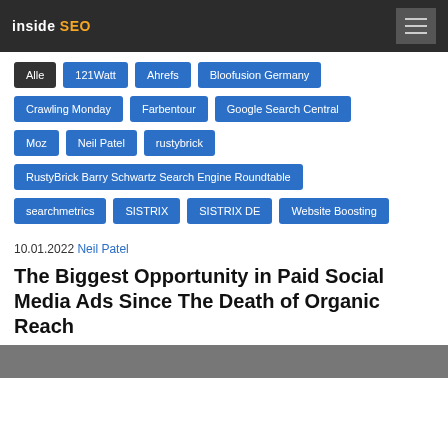inside SEO
Alle
121Watt
Ahrefs
Bloofusion Germany
Crawling Monday
Farbentour
Google Search Central
Moz
Neil Patel
rustybrick
RustyBrick Barry Schwartz Search Engine Roundtable
searchmetrics
SISTRIX
SISTRIX DE
Website Boosting
10.01.2022 Neil Patel
The Biggest Opportunity in Paid Social Media Ads Since The Death of Organic Reach